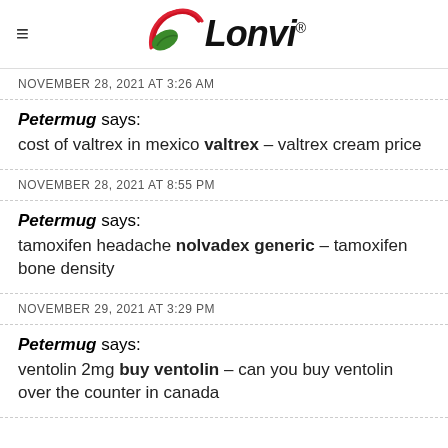Lonvi
NOVEMBER 28, 2021 AT 3:26 AM
Petermug says: cost of valtrex in mexico valtrex – valtrex cream price
NOVEMBER 28, 2021 AT 8:55 PM
Petermug says: tamoxifen headache nolvadex generic – tamoxifen bone density
NOVEMBER 29, 2021 AT 3:29 PM
Petermug says: ventolin 2mg buy ventolin – can you buy ventolin over the counter in canada